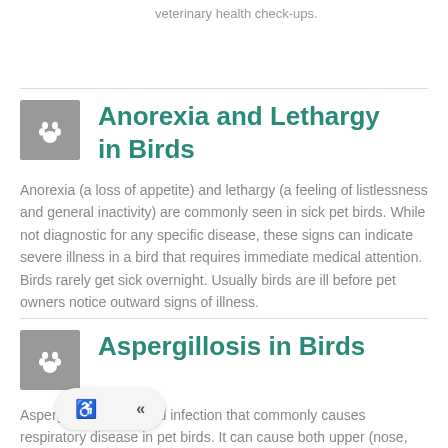veterinary health check-ups.
Anorexia and Lethargy in Birds
Anorexia (a loss of appetite) and lethargy (a feeling of listlessness and general inactivity) are commonly seen in sick pet birds. While not diagnostic for any specific disease, these signs can indicate severe illness in a bird that requires immediate medical attention. Birds rarely get sick overnight. Usually birds are ill before pet owners notice outward signs of illness.
Aspergillosis in Birds
Aspergillosis is a fungal infection that commonly causes respiratory disease in pet birds. It can cause both upper (nose, sinuses, eye, and trachea) and lower (lungs and air sacs – a specialized part of the